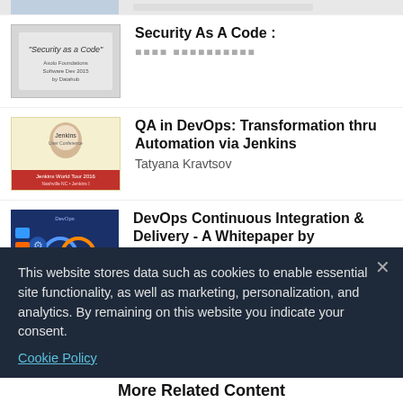[Figure (screenshot): Partially visible thumbnail at top of page]
Security As A Code : ■■■■ ■■■■■■■■■■
QA in DevOps: Transformation thru Automation via Jenkins
Tatyana Kravtsov
DevOps Continuous Integration & Delivery - A Whitepaper by RapidValue
RapidValue
This website stores data such as cookies to enable essential site functionality, as well as marketing, personalization, and analytics. By remaining on this website you indicate your consent.
Cookie Policy
More Related Content